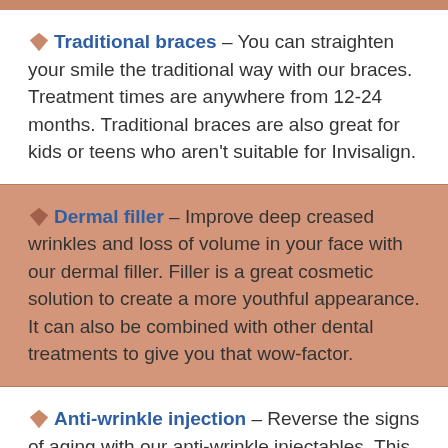Traditional braces – You can straighten your smile the traditional way with our braces. Treatment times are anywhere from 12-24 months. Traditional braces are also great for kids or teens who aren't suitable for Invisalign.
Dermal filler – Improve deep creased wrinkles and loss of volume in your face with our dermal filler. Filler is a great cosmetic solution to create a more youthful appearance. It can also be combined with other dental treatments to give you that wow-factor.
Anti-wrinkle injection – Reverse the signs of aging with our anti-wrinkle injectables. This muscle relaxer is a common cosmetic